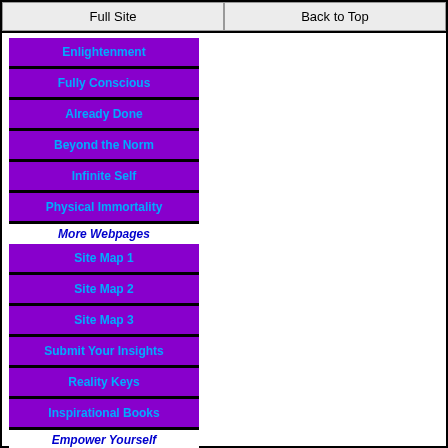Full Site | Back to Top
Enlightenment
Fully Conscious
Already Done
Beyond the Norm
Infinite Self
Physical Immortality
More Webpages
Site Map 1
Site Map 2
Site Map 3
Submit Your Insights
Reality Keys
Inspirational Books
Empower Yourself